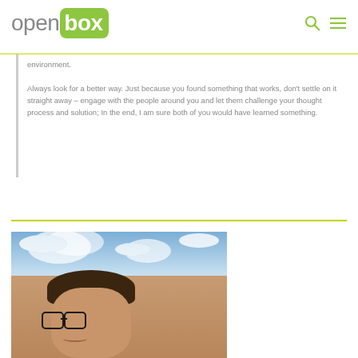openbox
environment.
Always look for a better way. Just because you found something that works, don't settle on it straight away – engage with the people around you and let them challenge your thought process and solution; In the end, I am sure both of you would have learned something.
[Figure (photo): Photo of a man with glasses and tousled dark hair outdoors with a blue sky and clouds in the background, appearing to be a selfie]